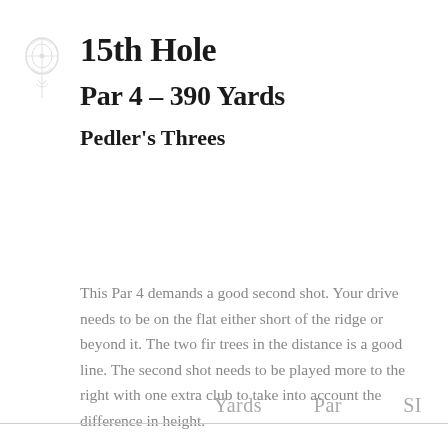[Figure (logo): Golf club crest/logo watermark on left side]
15th Hole
Par 4 – 390 Yards
Pedler's Threes
This Par 4 demands a good second shot. Your drive needs to be on the flat either short of the ridge or beyond it. The two fir trees in the distance is a good line. The second shot needs to be played more to the right with one extra club to take into account the difference in height.
| Yards | Par | SI |
| --- | --- | --- |